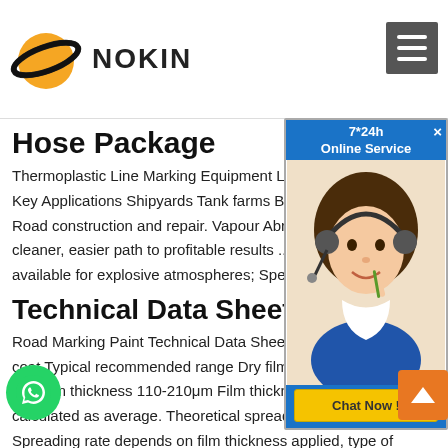NOKIN
Hose Package
Thermoplastic Line Marking Equipment Line Striper Acc Key Applications Shipyards Tank farms Bridge and infra Road construction and repair. Vapour Abrasive Blasting cleaner, easier path to profitable results ... ATEX appro available for explosive atmospheres; Specifications &
Technical Data Sheet - Jotun
Road Marking Paint Technical Data Sheet 1 Film thickness per coat Typical recommended range Dry film thickness 40-80μm Wet film thickness 110-210μm Film thickness will vary and is calculated as average. Theoretical spreading rate 9.25-4.5m²/l Spreading rate depends on film thickness applied, type of texture ace porosity, imperfections
SPECIAL SPECIFICATION 8994 All-Weather Thermoplastic